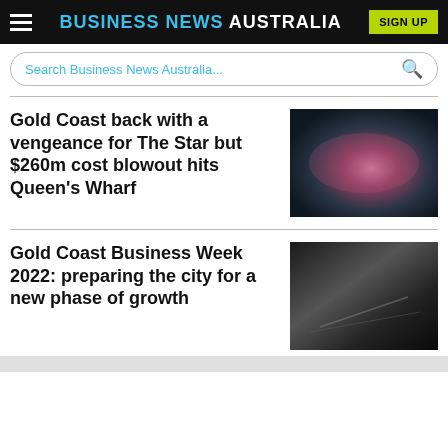BUSINESS NEWS AUSTRALIA
Search Business News Australia...
Gold Coast back with a vengeance for The Star but $260m cost blowout hits Queen's Wharf
[Figure (photo): Blurred photo with purple/pink tones, likely interior of a casino or entertainment venue]
Gold Coast Business Week 2022: preparing the city for a new phase of growth
[Figure (photo): Dark black and white photo, likely an urban or business scene]